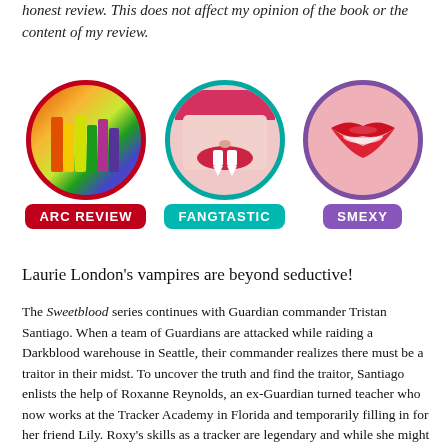honest review. This does not affect my opinion of the book or the content of my review.
[Figure (illustration): Three circular badge icons side by side: 'ARC REVIEW' with colorful book spines, 'FANGTASTIC' with a vampire mouth, and 'SMEXY' with red lips, each with colored border and label beneath.]
Laurie London's vampires are beyond seductive!
The Sweetblood series continues with Guardian commander Tristan Santiago. When a team of Guardians are attacked while raiding a Darkblood warehouse in Seattle, their commander realizes there must be a traitor in their midst. To uncover the truth and find the traitor, Santiago enlists the help of Roxanne Reynolds, an ex-Guardian turned teacher who now works at the Tracker Academy in Florida and temporarily filling in for her friend Lily. Roxy's skills as a tracker are legendary and while she might be a just a teacher now, she's come to Seattle with a purpose, to find her fiance's killer. Tristan's close friends come up with a seamless plot to find the vampire who endangered their lives by having Roxy and his commander become...